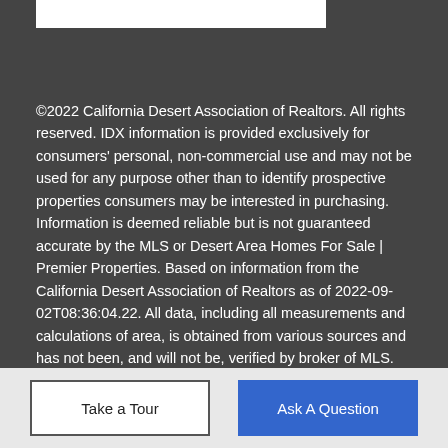[Figure (other): White rectangle bar at top of dark gray section]
©2022 California Desert Association of Realtors. All rights reserved. IDX information is provided exclusively for consumers' personal, non-commercial use and may not be used for any purpose other than to identify prospective properties consumers may be interested in purchasing. Information is deemed reliable but is not guaranteed accurate by the MLS or Desert Area Homes For Sale | Premier Properties. Based on information from the California Desert Association of Realtors as of 2022-09-02T08:36:04.22. All data, including all measurements and calculations of area, is obtained from various sources and has not been, and will not be, verified by broker of MLS. All information should be independently reviewed and verified for accuracy. Properties may or may not be listing by the office/agent presenting the information.
Take a Tour
Ask A Question